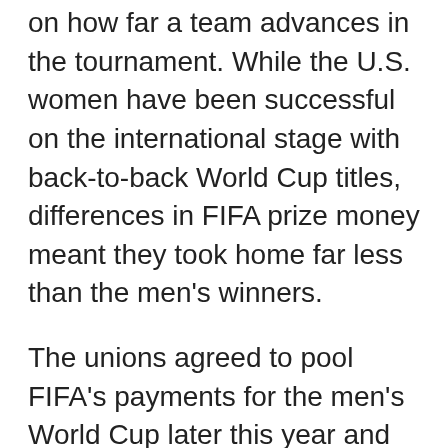on how far a team advances in the tournament. While the U.S. women have been successful on the international stage with back-to-back World Cup titles, differences in FIFA prize money meant they took home far less than the men's winners.
The unions agreed to pool FIFA's payments for the men's World Cup later this year and next year's Women's World Cup, as well as for the 2026 and 2027 tournaments.
Each player will get matching game